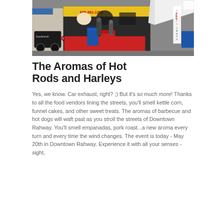[Figure (photo): Outdoor food vendor booth at a street fair with red tablecloth, blue barrel, and signage reading '609-381-1298'. White tent visible on right side. Cars and buildings in background. 'Credit Cards' sign on right side. 'Goodwrench' sign visible on left.]
The Aromas of Hot Rods and Harleys
Yes, we know. Car exhaust, right? ;) But it's so much more! Thanks to all the food vendors lining the streets, you'll smell kettle corn, funnel cakes, and other sweet treats. The aromas of barbecue and hot dogs will waft past as you stroll the streets of Downtown Rahway. You'll smell empanadas, pork roast...a new aroma every turn and every time the wind changes. The event is today - May 20th in Downtown Rahway. Experience it with all your senses - sight,